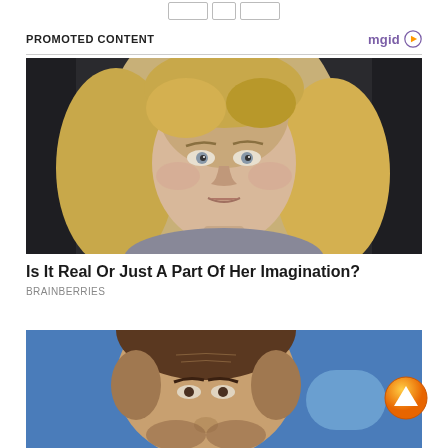[Figure (other): Three navigation/pagination buttons at top of page]
PROMOTED CONTENT
[Figure (other): mgid logo with play triangle icon]
[Figure (photo): Close-up photo of a blonde woman with curly hair staring at camera in a dramatic, slightly unsettling expression]
Is It Real Or Just A Part Of Her Imagination?
BRAINBERRIES
[Figure (photo): Partial view of a man's face against a blue background, cut off at bottom of page]
[Figure (other): Orange circular scroll-up/arrow button overlay in bottom right corner]